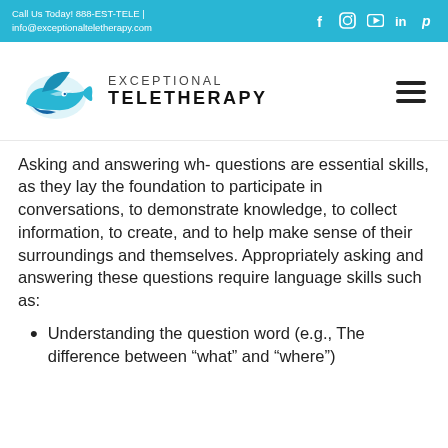Call Us Today! 888-EST-TELE | info@exceptionalteletherapy.com
[Figure (logo): Exceptional Teletherapy logo with a blue bird/fish icon and text 'EXCEPTIONAL TELETHERAPY']
Asking and answering wh- questions are essential skills, as they lay the foundation to participate in conversations, to demonstrate knowledge, to collect information, to create, and to help make sense of their surroundings and themselves. Appropriately asking and answering these questions require language skills such as:
Understanding the question word (e.g., The difference between “what” and “where”)